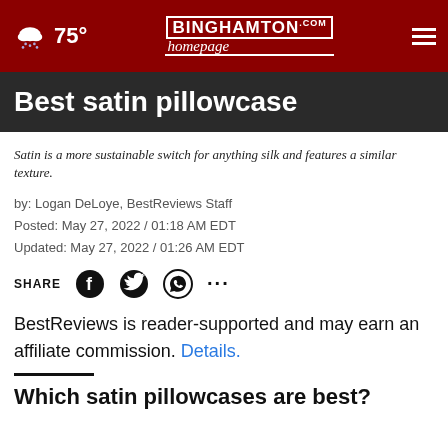75° | BINGHAMTON homepage.com
Best satin pillowcase
Satin is a more sustainable switch for anything silk and features a similar texture.
by: Logan DeLoye, BestReviews Staff
Posted: May 27, 2022 / 01:18 AM EDT
Updated: May 27, 2022 / 01:26 AM EDT
SHARE [Facebook] [Twitter] [WhatsApp] [...]
BestReviews is reader-supported and may earn an affiliate commission. Details.
Which satin pillowcases are best?